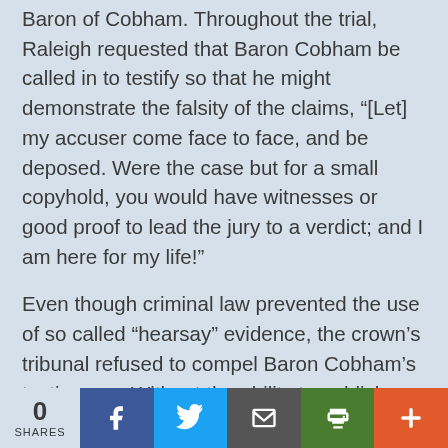Baron of Cobham. Throughout the trial, Raleigh requested that Baron Cobham be called in to testify so that he might demonstrate the falsity of the claims, “[Let] my accuser come face to face, and be deposed. Were the case but for a small copyhold, you would have witnesses or good proof to lead the jury to a verdict; and I am here for my life!”
Even though criminal law prevented the use of so called “hearsay” evidence, the crown’s tribunal refused to compel Baron Cobham’s testimony.  Without the ability to publicly
0 SHARES